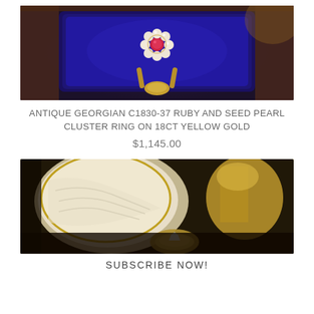[Figure (photo): Antique Georgian ruby and seed pearl cluster ring displayed in a dark velvet jewellery box, photographed from above. The ring features a central ruby surrounded by seed pearls on an 18ct yellow gold band.]
ANTIQUE GEORGIAN c1830-37 RUBY AND SEED PEARL CLUSTER RING ON 18ct YELLOW GOLD
$1,145.00
[Figure (photo): Close-up photograph of an antique ring in a cream-lined jewellery box, with gold decorative objects visible in the background. The image is partially cut off at the bottom.]
SUBSCRIBE NOW!